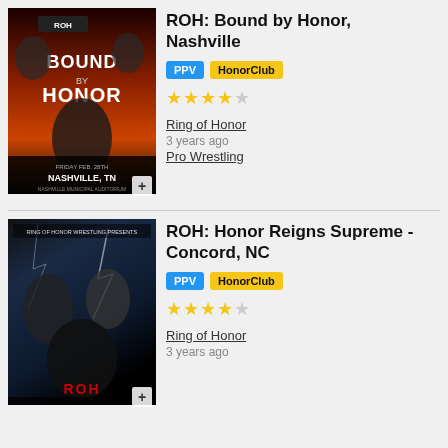[Figure (photo): ROH Bound by Honor Nashville event poster showing wrestlers, Friday Feb. 28th, Nashville TN, Nashville Municipal Auditorium]
ROH: Bound by Honor, Nashville
PPV | HonorClub
★★★★☆ (4 out of 5 stars)
Ring of Honor
3 years ago
Pro Wrestling
[Figure (photo): ROH Honor Reigns Supreme Concord NC event poster showing wrestlers]
ROH: Honor Reigns Supreme - Concord, NC
PPV | HonorClub
★★★★☆ (4 out of 5 stars)
Ring of Honor
3 years ago